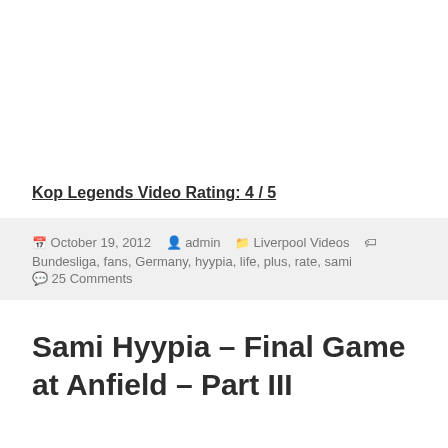Kop Legends Video Rating: 4 / 5
October 19, 2012  admin  Liverpool Videos  Bundesliga, fans, Germany, hyypia, life, plus, rate, sami  25 Comments
Sami Hyypia – Final Game at Anfield – Part III